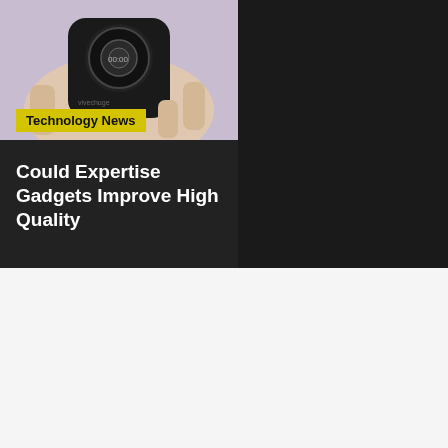[Figure (photo): Hand holding a small black wireless device with a circular display, partially visible. Yellow 'Technology News' badge overlaid at bottom left.]
Could Expertise Gadgets Improve High Quality
We use cookies on our website to give you the most relevant experience by remembering your preferences and repeat visits. By clicking “Accept All”, you consent to the use of ALL the cookies. However, you may visit "Cookie Settings" to provide a controlled consent.
Cookie Settings
Accept All